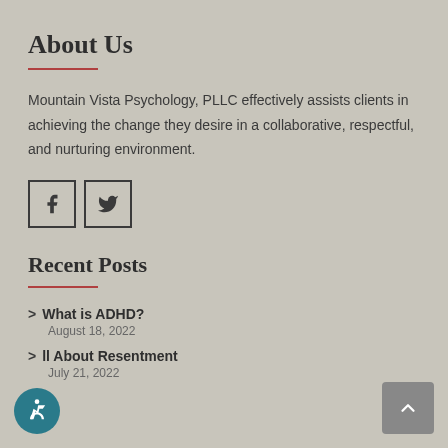About Us
Mountain Vista Psychology, PLLC effectively assists clients in achieving the change they desire in a collaborative, respectful, and nurturing environment.
[Figure (illustration): Social media icon buttons for Facebook and Twitter, each in a square border]
Recent Posts
> What is ADHD? August 18, 2022
> All About Resentment July 21, 2022